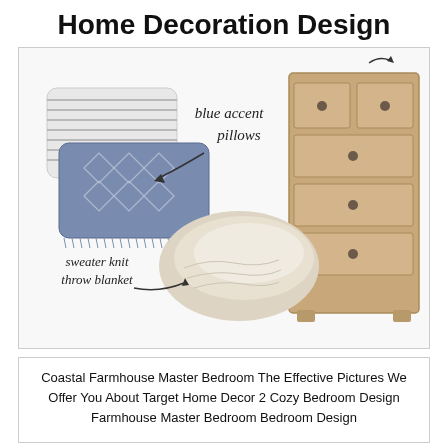Home Decoration Design
[Figure (illustration): Home decoration mood board showing blue accent pillows, a sweater knit throw blanket, and a wooden dresser with script handwritten labels and arrows]
Coastal Farmhouse Master Bedroom The Effective Pictures We Offer You About Target Home Decor 2 Cozy Bedroom Design Farmhouse Master Bedroom Bedroom Design
[Figure (photo): Farmhouse-style bedroom with black iron bed frame, white bedding with ticking stripe pillows, small potted green plants on either side, gold pendant light, white walls]